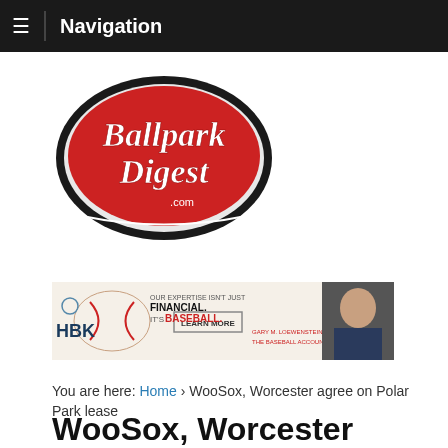Navigation
[Figure (logo): Ballpark Digest .com logo — red oval with script white text on dark oval border]
[Figure (infographic): HBK advertisement banner: 'OUR EXPERTISE ISN'T JUST FINANCIAL. IT'S BASEBALL. LEARN MORE. GARY M. LOEWENSTEIN, CPA, CVA THE BASEBALL ACCOUNTANT' with photo of man in suit]
You are here: Home › WooSox, Worcester agree on Polar Park lease
WooSox, Worcester agree on Polar Park lease